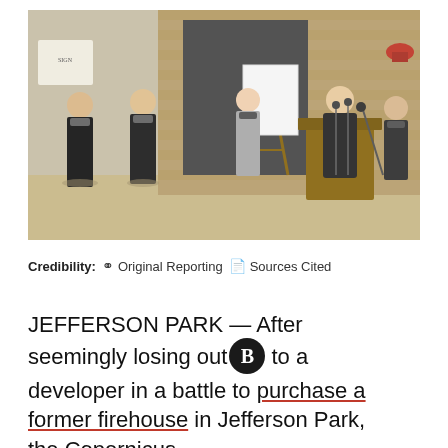[Figure (photo): Outdoor press conference scene showing five people wearing masks. A man stands at a wooden podium with microphones, others stand nearby. An easel with a white board is visible. Brick building in background.]
Credibility: ⊕ Original Reporting  ⧉ Sources Cited
JEFFERSON PARK — After seemingly losing out to a developer in a battle to purchase a former firehouse in Jefferson Park, the Copernicus